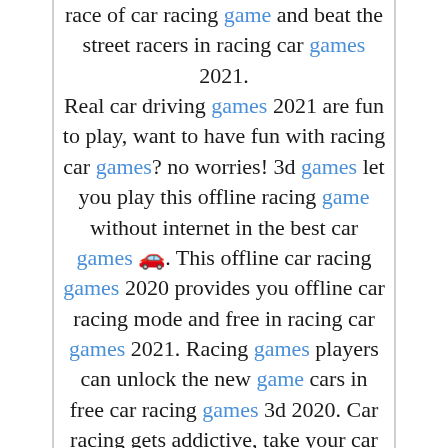race of car racing game and beat the street racers in racing car games 2021. Real car driving games 2021 are fun to play, want to have fun with racing car games? no worries! 3d games let you play this offline racing game without internet in the best car games 🚗. This offline car racing games 2020 provides you offline car racing mode and free in racing car games 2021. Racing games players can unlock the new game cars in free car racing games 3d 2020. Car racing gets addictive, take your car driving games skills to a different level with this car race game. CAR RACING GAME 2021, NEW GAMES